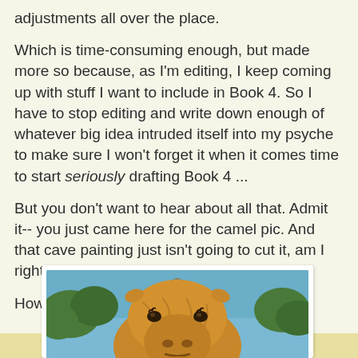adjustments all over the place.
Which is time-consuming enough, but made more so because, as I'm editing, I keep coming up with stuff I want to include in Book 4. So I have to stop editing and write down enough of whatever big idea intruded itself into my psyche to make sure I won't forget it when it comes time to start seriously drafting Book 4 ...
But you don't want to hear about all that. Admit it-- you just came here for the camel pic. And that cave painting just isn't going to cut it, am I right?
How about this guy?
[Figure (photo): Close-up photo of a camel's face and neck from below, looking up, with trees and blue sky in the background. The camel has golden-brown fur and appears to be outdoors.]